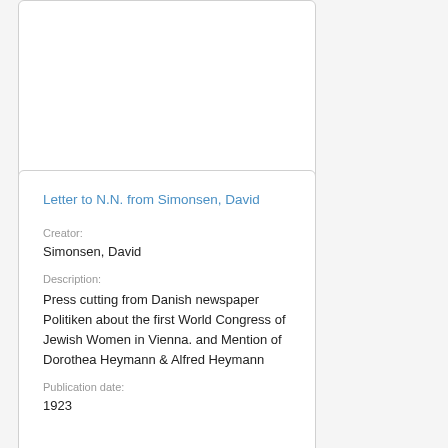[Figure (other): Top card with no visible content — empty white card with border]
Letter to N.N. from Simonsen, David
Creator:
Simonsen, David
Description:
Press cutting from Danish newspaper Politiken about the first World Congress of Jewish Women in Vienna. and Mention of Dorothea Heymann & Alfred Heymann
Publication date:
1923